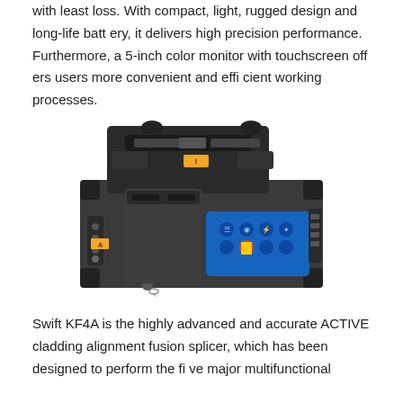with least loss. With compact, light, rugged design and long-life battery, it delivers high precision performance. Furthermore, a 5-inch color monitor with touchscreen offers users more convenient and efficient working processes.
[Figure (photo): Photo of Swift KF4A fusion splicer device — a compact, rugged black instrument with touchscreen display showing blue interface icons, fiber alignment mechanism on top, and rubber corner guards.]
Swift KF4A is the highly advanced and accurate ACTIVE cladding alignment fusion splicer, which has been designed to perform the five major multifunctional